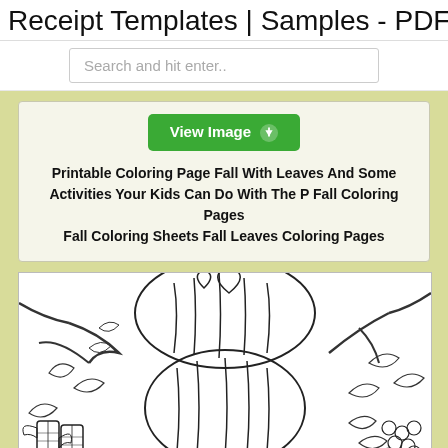Receipt Templates | Samples - PDF
Search and hit enter..
View Image
Printable Coloring Page Fall With Leaves And Some Activities Your Kids Can Do With The P Fall Coloring Pages Fall Coloring Sheets Fall Leaves Coloring Pages
[Figure (illustration): Black and white printable coloring page showing pumpkins, corn, leaves, and fall harvest decorations — a detailed line drawing.]
View Image